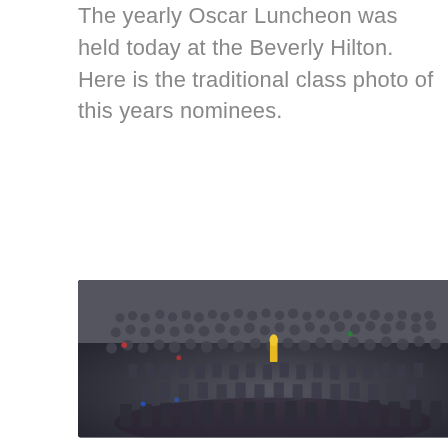The yearly Oscar Luncheon was held today at the Beverly Hilton. Here is the traditional class photo of this years nominees.
[Figure (photo): Large group photo of Oscar nominees at the yearly Oscar Luncheon at the Beverly Hilton. A large crowd of formally dressed people arranged in rows with a golden Oscar statue visible in the center.]
[Figure (photo): Movie poster or promotional image for the film 'Boyhood' showing a young child looking upward against a green grass background with the title 'BoyHood' written in white handwritten text.]